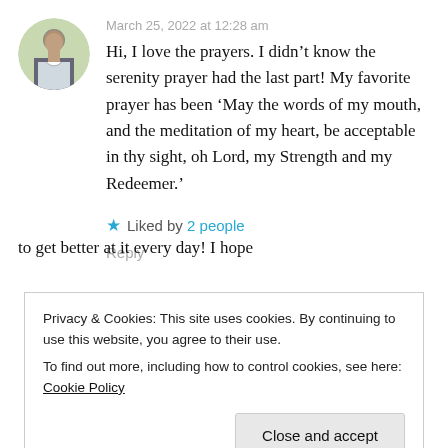March 25, 2022 at 12:28 am
Hi, I love the prayers. I didn't know the serenity prayer had the last part! My favorite prayer has been ‘May the words of my mouth, and the meditation of my heart, be acceptable in thy sight, oh Lord, my Strength and my Redeemer.’
★ Liked by 2 people
Reply
Privacy & Cookies: This site uses cookies. By continuing to use this website, you agree to their use.
To find out more, including how to control cookies, see here: Cookie Policy
Close and accept
to get better at it every day! I hope